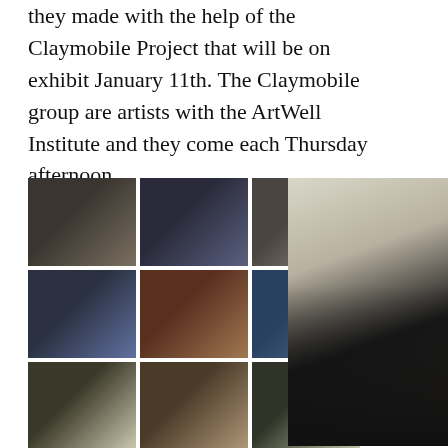they made with the help of the Claymobile Project that will be on exhibit January 11th. The Claymobile group are artists with the ArtWell Institute and they come each Thursday afternoon.
[Figure (photo): Grid of 13 small thumbnail photos showing students working on clay plates and group photos, arranged in a 3-column grid]
[Figure (photo): Large photo of two young girls wearing hijabs and dark clothing, smiling and holding decorated clay plates]